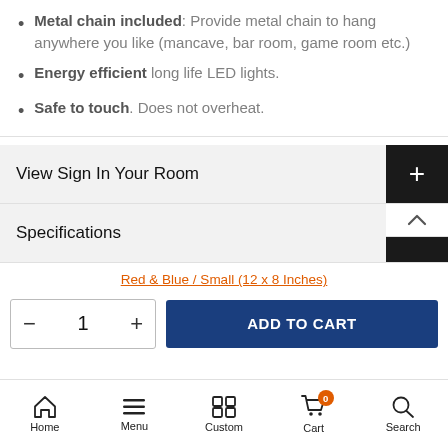Metal chain included: Provide metal chain to hang anywhere you like (mancave, bar room, game room etc.)
Energy efficient long life LED lights.
Safe to touch. Does not overheat.
View Sign In Your Room
Specifications
Red & Blue / Small (12 x 8 Inches)
- 1 + ADD TO CART
Home  Menu  Custom  Cart  Search